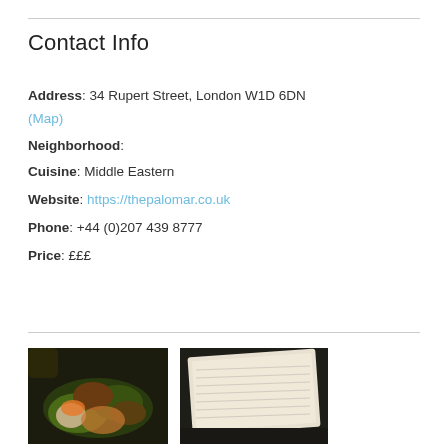Contact Info
Address: 34 Rupert Street, London W1D 6DN
(Map)
Neighborhood:
Cuisine: Middle Eastern
Website: https://thepalomar.co.uk
Phone: +44 (0)207 439 8777
Price: £££
[Figure (photo): Photo of food dishes at the restaurant]
[Figure (photo): Photo of the restaurant menu]